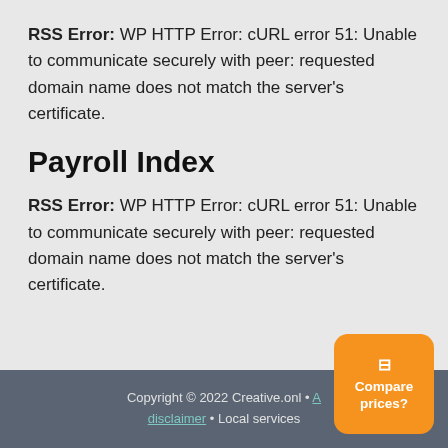RSS Error: WP HTTP Error: cURL error 51: Unable to communicate securely with peer: requested domain name does not match the server's certificate.
Payroll Index
RSS Error: WP HTTP Error: cURL error 51: Unable to communicate securely with peer: requested domain name does not match the server's certificate.
Copyright © 2022 Creative.onl • disclaimer • Local services